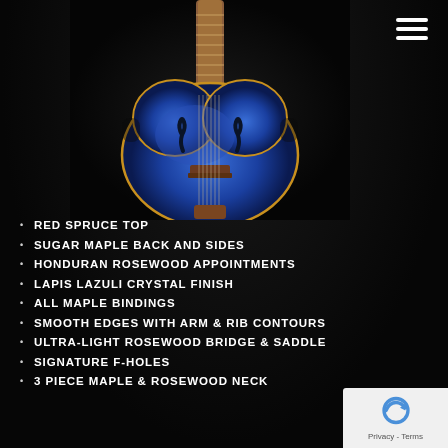[Figure (photo): Blue archtop guitar with brown/rosewood neck and gold binding, photographed against dark background]
RED SPRUCE TOP
SUGAR MAPLE BACK AND SIDES
HONDURAN ROSEWOOD APPOINTMENTS
LAPIS LAZULI CRYSTAL FINISH
ALL MAPLE BINDINGS
SMOOTH EDGES WITH ARM & RIB CONTOURS
ULTRA-LIGHT ROSEWOOD BRIDGE & SADDLE
SIGNATURE F-HOLES
3 PIECE MAPLE & ROSEWOOD NECK